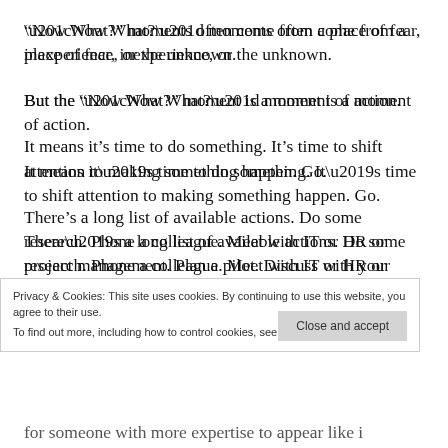“Now What?” moments often come from a place of fear, inexperience, or the unknown.
But the “Now What?” moment is a moment of action.
It means it’s time to do something. It’s time to shift attention to making something happen. Go.
There’s a long list of available actions. Do some research. Phone a colleague. Meet with IT or HR or project management. Plan a pilot. Discuss with your
Privacy & Cookies: This site uses cookies. By continuing to use this website, you agree to their use.
To find out more, including how to control cookies, see here: Cookie Policy
for someone with more expertise to appear like i